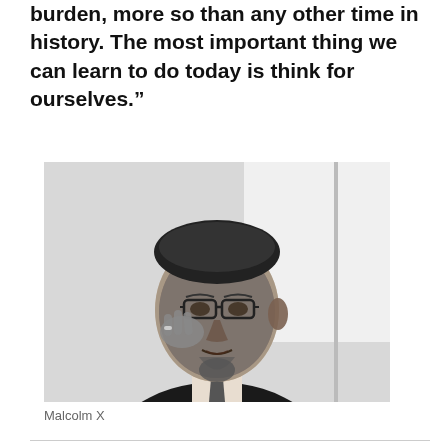burden, more so than any other time in history. The most important thing we can learn to do today is think for ourselves.”
[Figure (photo): Black and white portrait photograph of Malcolm X, wearing glasses, with his hand raised to his temple in a thoughtful pose, wearing a suit]
Malcolm X
Recent Posts
A misunderstood relationship: Shirley Sherrod, the dog whistle from the far right and 22 statistics that explain the demise of the American middle class  July 21, 2010